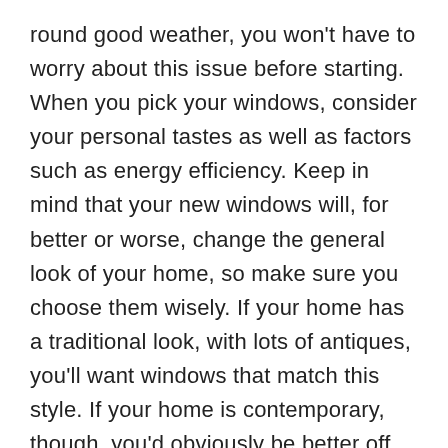round good weather, you won't have to worry about this issue before starting. When you pick your windows, consider your personal tastes as well as factors such as energy efficiency. Keep in mind that your new windows will, for better or worse, change the general look of your home, so make sure you choose them wisely. If your home has a traditional look, with lots of antiques, you'll want windows that match this style. If your home is contemporary, though, you'd obviously be better off with modern style windows. In the event that you ever might sell your home, the look of your windows and how suitable they are in relation to the rest of your home can also affect the selling price.
Your windows should not only be energy-efficient and cost effective, but should provide